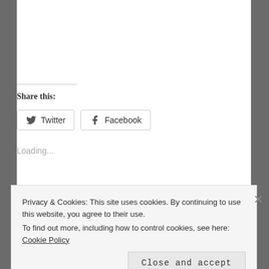Share this:
Twitter   Facebook
Loading...
Published by Jackie
Privacy & Cookies: This site uses cookies. By continuing to use this website, you agree to their use.
To find out more, including how to control cookies, see here: Cookie Policy
Close and accept